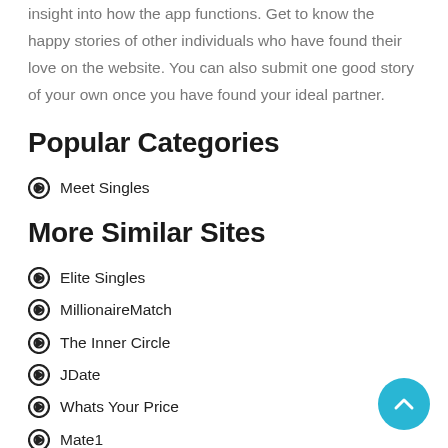insight into how the app functions. Get to know the happy stories of other individuals who have found their love on the website. You can also submit one good story of your own once you have found your ideal partner.
Popular Categories
Meet Singles
More Similar Sites
Elite Singles
MillionaireMatch
The Inner Circle
JDate
Whats Your Price
Mate1
Sugardaddyforme.com